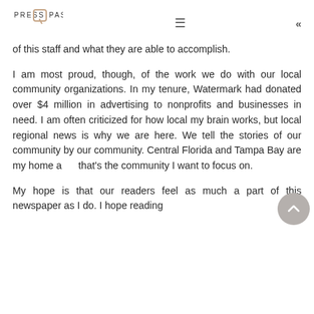PRESS PASS
of this staff and what they are able to accomplish.
I am most proud, though, of the work we do with our local community organizations. In my tenure, Watermark had donated over $4 million in advertising to nonprofits and businesses in need. I am often criticized for how local my brain works, but local regional news is why we are here. We tell the stories of our community by our community. Central Florida and Tampa Bay are my home a that's the community I want to focus on.
My hope is that our readers feel as much a part of this newspaper as I do. I hope reading